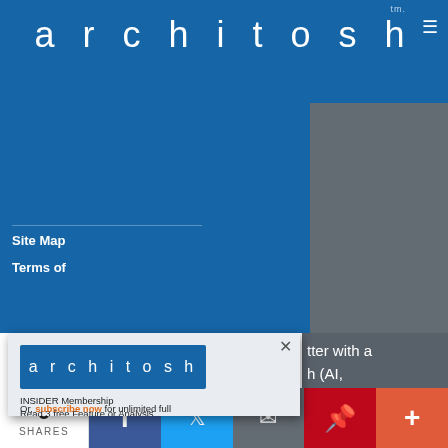[Figure (screenshot): Screenshot of the architosh website showing a blue header with the site name 'architosh' in large spaced letters with a 'tm.' mark, a hamburger menu icon, a gray dropdown panel showing 'architosh' and 'INSIDER Xpresso', and a modal popup with the architosh logo and membership offer text. Bottom share bar with 0 SHARES and social media buttons (Facebook, Twitter, email, Pinterest, plus).]
architosh tm.
architosh
INSIDER Xpresso
Site Map
Terms of
tter with a h (AI, g, AAD, AR, ting, and impact on als.)
[Figure (logo): architosh logo — white text on blue background rectangle]
INSIDER Membership
Read 3 free Feature or Analysis articles per month.
Or, subscribe now for unlimited full
0 SHARES  [Facebook] [Twitter] [Email] [Pinterest] [Plus]